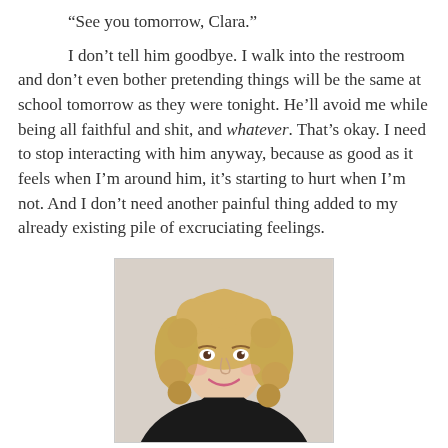“See you tomorrow, Clara.”
I don’t tell him goodbye. I walk into the restroom and don’t even bother pretending things will be the same at school tomorrow as they were tonight. He’ll avoid me while being all faithful and shit, and whatever. That’s okay. I need to stop interacting with him anyway, because as good as it feels when I’m around him, it’s starting to hurt when I’m not. And I don’t need another painful thing added to my already existing pile of excruciating feelings.
[Figure (photo): Portrait photo of a smiling blonde woman with curly hair, wearing a black top, against a light background.]